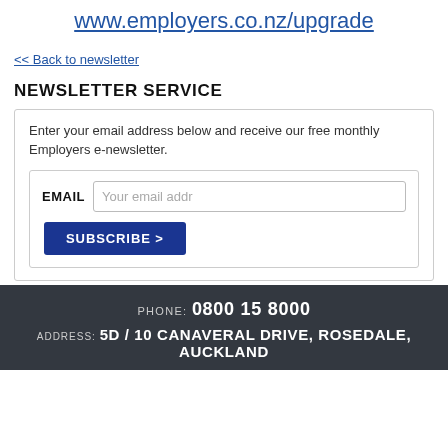www.employers.co.nz/upgrade
<< Back to newsletter
NEWSLETTER SERVICE
Enter your email address below and receive our free monthly Employers e-newsletter.
EMAIL  [Your email addr]  SUBSCRIBE >
PHONE: 0800 15 8000  ADDRESS: 5D / 10 CANAVERAL DRIVE, ROSEDALE, AUCKLAND